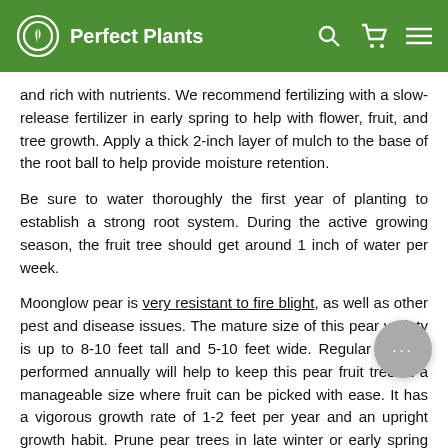Perfect Plants
and rich with nutrients. We recommend fertilizing with a slow-release fertilizer in early spring to help with flower, fruit, and tree growth. Apply a thick 2-inch layer of mulch to the base of the root ball to help provide moisture retention.
Be sure to water thoroughly the first year of planting to establish a strong root system. During the active growing season, the fruit tree should get around 1 inch of water per week.
Moonglow pear is very resistant to fire blight, as well as other pest and disease issues. The mature size of this pear variety is up to 8-10 feet tall and 5-10 feet wide. Regular pruning performed annually will help to keep this pear fruit tree at a manageable size where fruit can be picked with ease. It has a vigorous growth rate of 1-2 feet per year and an upright growth habit. Prune pear trees in late winter or early spring while still dormant.
When Do Moon Pear...